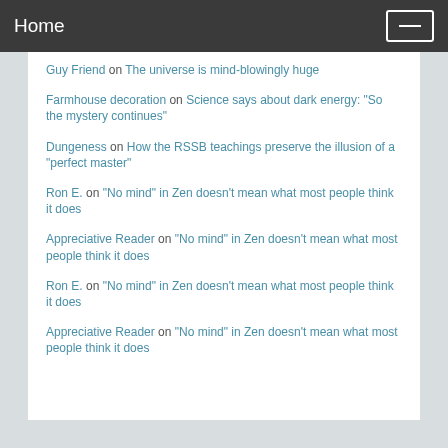Home
Guy Friend on The universe is mind-blowingly huge
Farmhouse decoration on Science says about dark energy: "So the mystery continues"
Dungeness on How the RSSB teachings preserve the illusion of a "perfect master"
Ron E. on "No mind" in Zen doesn't mean what most people think it does
Appreciative Reader on "No mind" in Zen doesn't mean what most people think it does
Ron E. on "No mind" in Zen doesn't mean what most people think it does
Appreciative Reader on "No mind" in Zen doesn't mean what most people think it does